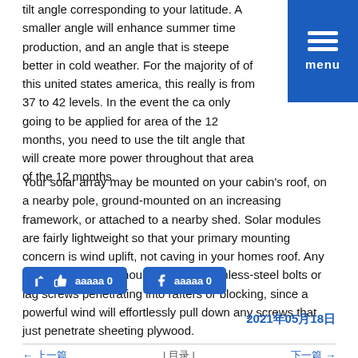tilt angle corresponding to your latitude. A smaller angle will enhance summer time production, and an angle that is steeper better in cold weather. For the majority of of this united states america, this really is from 37 to 42 levels. In the event the ca only going to be applied for area of the 12 months, you need to use the tilt angle that will create more power throughout that area of the 12 months.
Your solar array may be mounted on your cabin's roof, on a nearby pole, ground-mounted on an increasing framework, or attached to a nearby shed. Solar modules are fairly lightweight so that your primary mounting concern is wind uplift, not caving in your homes roof. Any mounting system should only use stainless-steel bolts or lag screws penetrating into rafters or blocking, since a powerful wind will effortlessly pull down any screws that just penetrate sheeting plywood.
[Figure (other): Two social share buttons: a thumbs-up like button showing count 0, and a Facebook share button showing count 0]
2021年05月18日
Navigation row with previous and next links